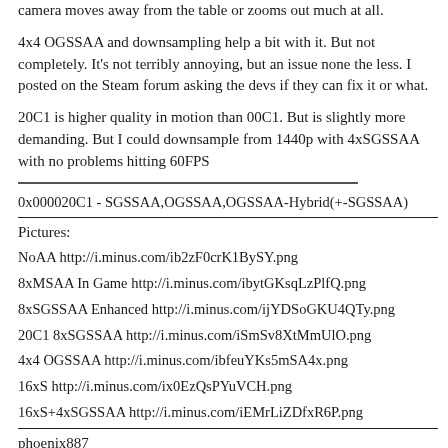camera moves away from the table or zooms out much at all.
4x4 OGSSAA and downsampling help a bit with it. But not completely. It's not terribly annoying, but an issue none the less. I posted on the Steam forum asking the devs if they can fix it or what.
20C1 is higher quality in motion than 00C1. But is slightly more demanding. But I could downsample from 1440p with 4xSGSSAA with no problems hitting 60FPS
0x000020C1 - SGSSAA,OGSSAA,OGSSAA-Hybrid(+-SGSSAA)
Pictures:
NoAA http://i.minus.com/ib2zF0crK1BySY.png
8xMSAA In Game http://i.minus.com/ibytGKsqLzPlfQ.png
8xSGSSAA Enhanced http://i.minus.com/ijYDSoGKU4QTy.png
20C1 8xSGSSAA http://i.minus.com/iSmSv8XtMmUlO.png
4x4 OGSSAA http://i.minus.com/ibfeuYKs5mSA4x.png
16xS http://i.minus.com/ix0EzQsPYuVCH.png
16xS+4xSGSSAA http://i.minus.com/iEMrLiZDfxR6P.png
phoenix887